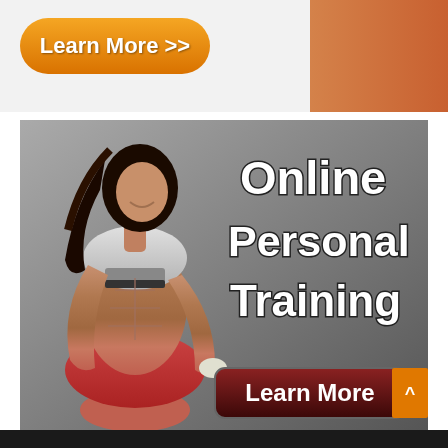[Figure (illustration): Orange 'Learn More >>' button on light background, with partial orange-toned fitness figure on right side]
[Figure (photo): Advertisement banner showing athletic woman with abs in sports bra and shorts, with text 'Online Personal Training' and a 'Learn More' dark red button overlay on grey gradient background]